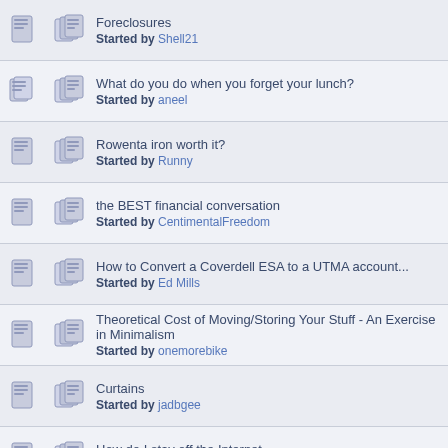Foreclosures
Started by Shell21
What do you do when you forget your lunch?
Started by aneel
Rowenta iron worth it?
Started by Runny
the BEST financial conversation
Started by CentimentalFreedom
How to Convert a Coverdell ESA to a UTMA account...
Started by Ed Mills
Theoretical Cost of Moving/Storing Your Stuff - An Exercise in Minimalism
Started by onemorebike
Curtains
Started by jadbgee
How do I stay off the Internet
Started by lizzzi
nm
Started by purplish